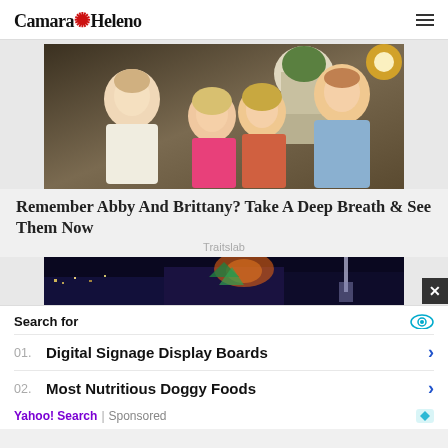CamaraHeleno
[Figure (photo): Group photo of four young adults (two men, two women) at what appears to be an outdoor dining setting. One woman wears a pink top.]
Remember Abby And Brittany? Take A Deep Breath & See Them Now
Traitslab
[Figure (photo): Nighttime city skyline with colorful lights and architectural shapes.]
Search for
01. Digital Signage Display Boards
02. Most Nutritious Doggy Foods
Yahoo! Search | Sponsored